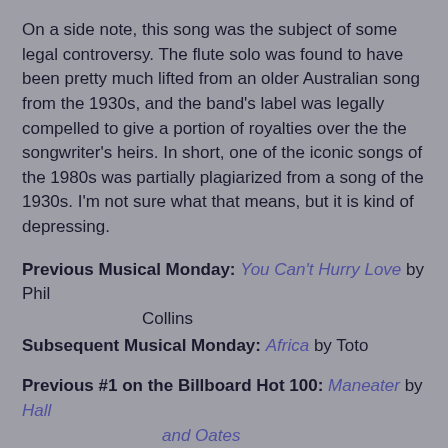On a side note, this song was the subject of some legal controversy. The flute solo was found to have been pretty much lifted from an older Australian song from the 1930s, and the band's label was legally compelled to give a portion of royalties over the the songwriter's heirs. In short, one of the iconic songs of the 1980s was partially plagiarized from a song of the 1930s. I'm not sure what that means, but it is kind of depressing.
Previous Musical Monday: You Can't Hurry Love by Phil Collins
Subsequent Musical Monday: Africa by Toto
Previous #1 on the Billboard Hot 100: Maneater by Hall and Oates
Subsequent #1 on the Billboard Hot 100: Africa by Toto
Previous #1 on the Billboard Hot 100: Maneater by Hall and Oates
Subsequent #1 on the Billboard Hot 100: Do You Really Want to Hurt Me? by Culture Club